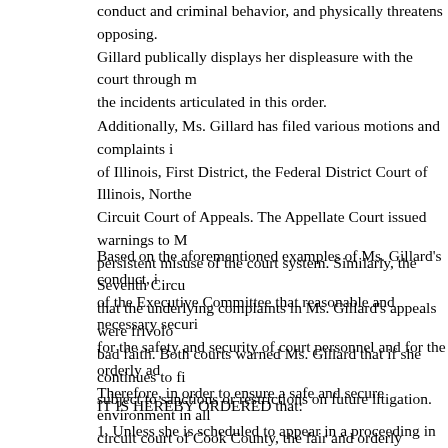conduct and criminal behavior, and physically threatens opposing. Gillard publically displays her displeasure with the court through m the incidents articulated in this order.
Additionally, Ms. Gillard has filed various motions and complaints i of Illinois, First District, the Federal District Court of Illinois, Northe Circuit Court of Appeals. The Appellate Court issued warnings to M persistent misuse of the court system. Similarly, the Seventh Circu that the underlying complaints in Ms. Gillard's appeals were frivolo bad faith. Both courts warned Ms. Gillard that if she continues to fi subject to sanctions or restrictions on future litigation.
Based on the aforementioned examples of Ms. Gillard's conduct, i of the Executive Committee that reasonable and necessary securi for the safety and security of court personnel and for the orderly ad Therefore, in order to ensure a safe and secure environment in all circuit court of Cook County, the fair and orderly administration of j process, and the safety and well-being of all judges, attorneys, liti personnel, and the Executive Committee of the court having revie information and having been fully advised in the premises, and on the Executive Committee,
IT IS HEREBY ORDERED that:
1. Unless she is scheduled to appear in a proceeding in which she Gillard, of P.O. Box 805993, Chicago, Illinois 60680, is prohibited